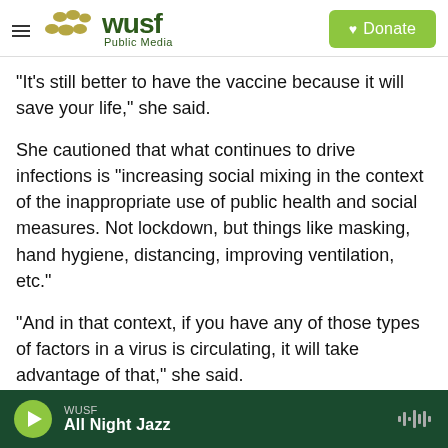[Figure (logo): WUSF Public Media logo with olive/gold pebble shapes and green text, hamburger menu icon on left, green Donate button on right]
"It's still better to have the vaccine because it will save your life," she said.
She cautioned that what continues to drive infections is "increasing social mixing in the context of the inappropriate use of public health and social measures. Not lockdown, but things like masking, hand hygiene, distancing, improving ventilation, etc."
"And in that context, if you have any of those types of factors in a virus is circulating, it will take advantage of that," she said.
WUSF   All Night Jazz